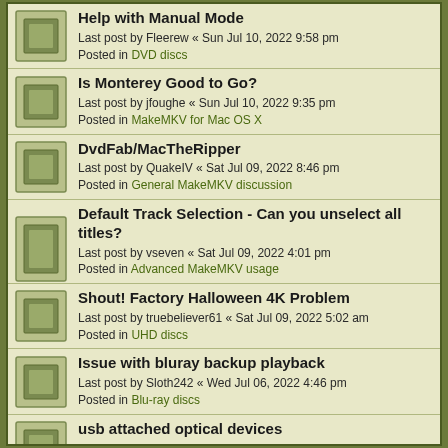Help with Manual Mode
Last post by Fleerew « Sun Jul 10, 2022 9:58 pm
Posted in DVD discs
Is Monterey Good to Go?
Last post by jfoughe « Sun Jul 10, 2022 9:35 pm
Posted in MakeMKV for Mac OS X
DvdFab/MacTheRipper
Last post by QuakeIV « Sat Jul 09, 2022 8:46 pm
Posted in General MakeMKV discussion
Default Track Selection - Can you unselect all titles?
Last post by vseven « Sat Jul 09, 2022 4:01 pm
Posted in Advanced MakeMKV usage
Shout! Factory Halloween 4K Problem
Last post by truebeliever61 « Sat Jul 09, 2022 5:02 am
Posted in UHD discs
Issue with bluray backup playback
Last post by Sloth242 « Wed Jul 06, 2022 4:46 pm
Posted in Blu-ray discs
usb attached optical devices
Last post by fpefpe « Tue Jul 05, 2022 8:12 pm
Posted in General MakeMKV discussion
new error as of 1.17.0
Last post by ranger671 « Mon Jul 04, 2022 4:49 pm
Posted in DVD discs
DVD ISO backup not possible on two discs